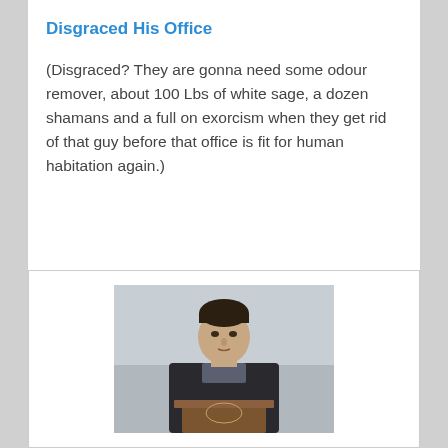Disgraced His Office
(Disgraced? They are gonna need some odour remover, about 100 Lbs of white sage, a dozen shamans and a full on exorcism when they get rid of that guy before that office is fit for human habitation again.)
[Figure (photo): A man in a dark coat standing at a wooden podium, looking upward, against a light grey background.]